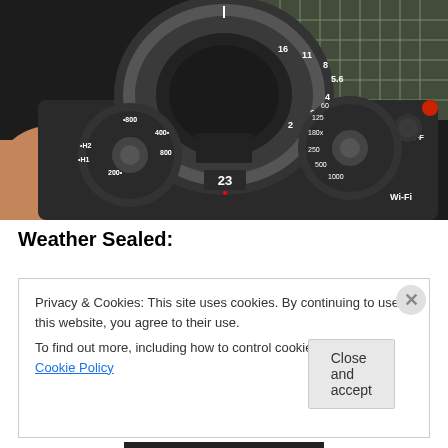[Figure (photo): Top-down view of a Fujifilm camera showing the lens with aperture markings (16, 11, 8, 5.6, 4, 2.8, 2, 1.4), focal length ring showing 23mm, and control dials including ISO dial (200, 400, 800, H1, H2), shutter speed dial (125, 180x, 250, and higher values), N OFF dial, and Wi-Fi button. The camera is being held by a hand.]
Weather Sealed:
Privacy & Cookies: This site uses cookies. By continuing to use this website, you agree to their use.
To find out more, including how to control cookies, see here: Cookie Policy
Close and accept